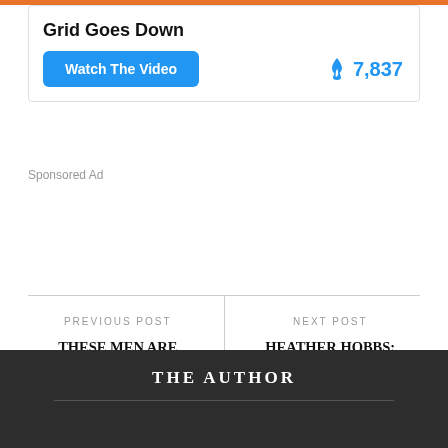Grid Goes Down
Watch The Video  🔥 7,837
Sponsored Ad
PREVIOUS POST
THESE MEN ARE CALLING OUT THE LIES OF MARK MECKLER & THE CONVENTION OF STATES
NEXT POST
HEATHER HOBBS: PLANNED PARENTHOOD & CPS ARE WORKING TO EXTORT ABORTIONS FROM PREGNANT MOMS
THE AUTHOR